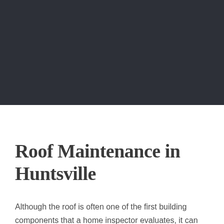[Figure (photo): Dark navy/charcoal colored header image area occupying the top portion of the page]
Roof Maintenance in Huntsville
Although the roof is often one of the first building components that a home inspector evaluates, it can often be one of the last